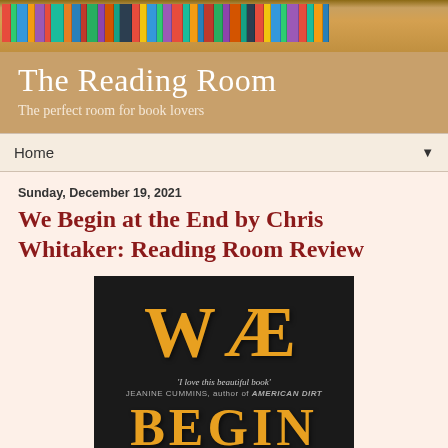[Figure (photo): Colorful bookshelf photo banner at top of page]
The Reading Room
The perfect room for book lovers
Home ▼
Sunday, December 19, 2021
We Begin at the End by Chris Whitaker: Reading Room Review
[Figure (photo): Book cover of 'We Begin at the End' by Chris Whitaker. Black background with large gold/orange WE text at top, quote 'I love this beautiful book' by JEANINE CUMMINS, author of AMERICAN DIRT, and large gold BEGIN text at bottom.]